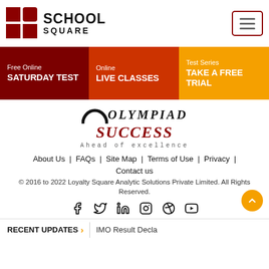[Figure (logo): School Square logo with red grid squares and text SCHOOL SQUARE]
[Figure (other): Hamburger menu button with three horizontal lines inside a bordered box]
Free Online SATURDAY TEST | Online LIVE CLASSES | Test Series TAKE A FREE TRIAL
[Figure (logo): OLYMPIAD SUCCESS - Ahead of excellence logo]
About Us | FAQs | Site Map | Terms of Use | Privacy | Contact us
© 2016 to 2022 Loyalty Square Analytic Solutions Private Limited. All Rights Reserved.
[Figure (other): Social media icons: Facebook, Twitter, LinkedIn, Instagram, Pinterest, YouTube]
RECENT UPDATES > IMO Result Decla